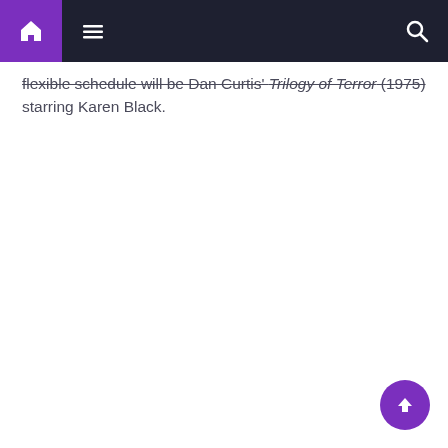Navigation bar with home, menu, and search icons
flexible schedule will be Dan Curtis' Trilogy of Terror (1975) starring Karen Black.